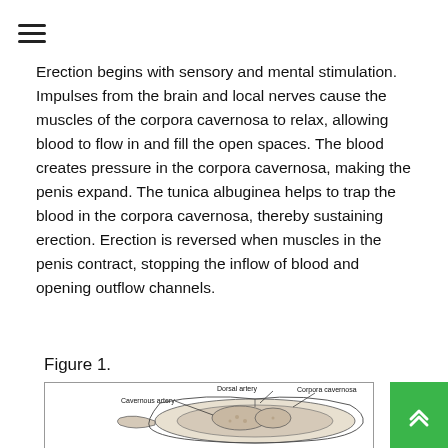Erection begins with sensory and mental stimulation. Impulses from the brain and local nerves cause the muscles of the corpora cavernosa to relax, allowing blood to flow in and fill the open spaces. The blood creates pressure in the corpora cavernosa, making the penis expand. The tunica albuginea helps to trap the blood in the corpora cavernosa, thereby sustaining erection. Erection is reversed when muscles in the penis contract, stopping the inflow of blood and opening outflow channels.
Figure 1.
[Figure (illustration): Anatomical cross-section diagram of penis showing Dorsal artery, Corpora cavernosa, and Cavernous artery labeled with lines pointing to respective structures.]